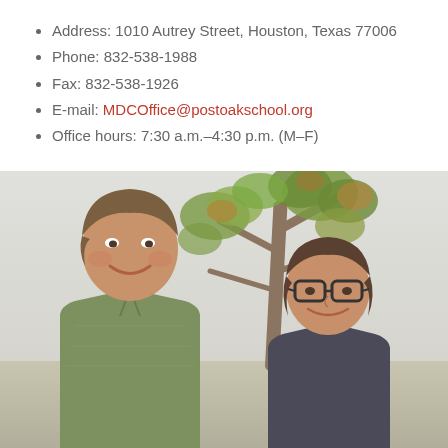Address: 1010 Autrey Street, Houston, Texas 77006
Phone: 832-538-1988
Fax: 832-538-1926
E-mail: MDCOffice@postoakschool.org
Office hours: 7:30 a.m.–4:30 p.m. (M–F)
[Figure (photo): Photo of two adults (a man in a green shirt and a woman with glasses) smiling outdoors in front of a tree]